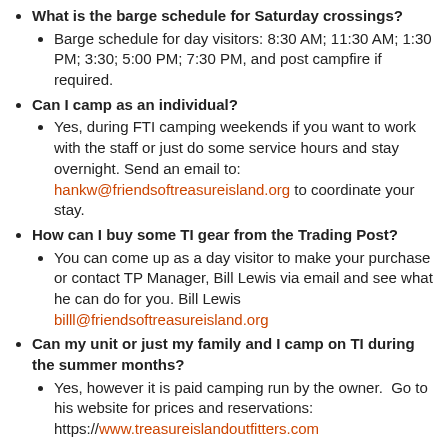What is the barge schedule for Saturday crossings?
Barge schedule for day visitors: 8:30 AM; 11:30 AM; 1:30 PM; 3:30; 5:00 PM; 7:30 PM, and post campfire if required.
Can I camp as an individual?
Yes, during FTI camping weekends if you want to work with the staff or just do some service hours and stay overnight. Send an email to: hankw@friendsoftreasureisland.org to coordinate your stay.
How can I buy some TI gear from the Trading Post?
You can come up as a day visitor to make your purchase or contact TP Manager, Bill Lewis via email and see what he can do for you. Bill Lewis billl@friendsoftreasureisland.org
Can my unit or just my family and I camp on TI during the summer months?
Yes, however it is paid camping run by the owner.  Go to his website for prices and reservations: https://www.treasureislandoutfitters.com
Can my unit go tubing?
Yes, organize your tubing trip with Treasure Island Outfitters: https://www.treasureislandoutfitters.com/tubing
Who owns Marshall Island?
The Port of Philadelphia (PhilaPort) purchased Marshall Island and it now a nature conservancy. Access is by river